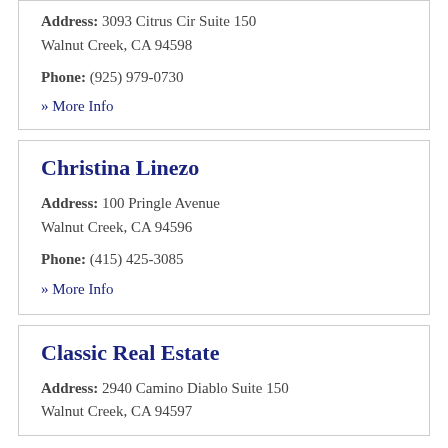Address: 3093 Citrus Cir Suite 150
Walnut Creek, CA 94598
Phone: (925) 979-0730
» More Info
Christina Linezo
Address: 100 Pringle Avenue
Walnut Creek, CA 94596
Phone: (415) 425-3085
» More Info
Classic Real Estate
Address: 2940 Camino Diablo Suite 150
Walnut Creek, CA 94597